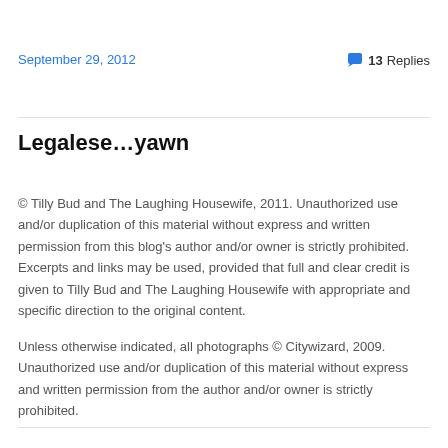September 29, 2012    💬 13 Replies
Legalese…yawn
© Tilly Bud and The Laughing Housewife, 2011. Unauthorized use and/or duplication of this material without express and written permission from this blog's author and/or owner is strictly prohibited. Excerpts and links may be used, provided that full and clear credit is given to Tilly Bud and The Laughing Housewife with appropriate and specific direction to the original content.
Unless otherwise indicated, all photographs © Citywizard, 2009. Unauthorized use and/or duplication of this material without express and written permission from the author and/or owner is strictly prohibited.